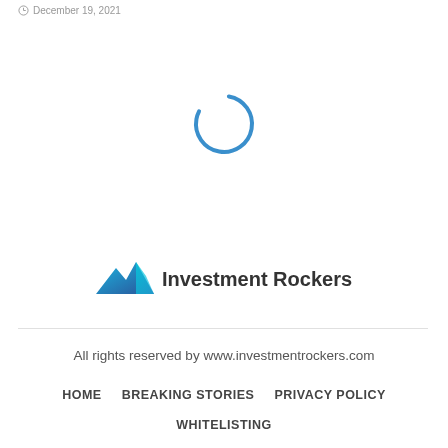December 19, 2021
[Figure (other): Loading spinner circle icon, partially filled in blue indicating a loading state]
[Figure (logo): Investment Rockers logo with a blue chart/mountain graphic and the text 'Investment Rockers' in bold]
All rights reserved by www.investmentrockers.com
HOME   BREAKING STORIES   PRIVACY POLICY   WHITELISTING